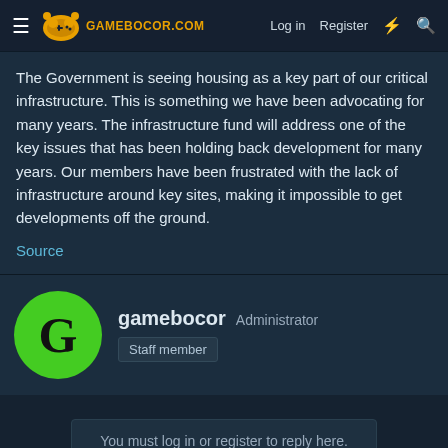GAMEBOCOR.COM — Log in  Register
The Government is seeing housing as a key part of our critical infrastructure. This is something we have been advocating for many years. The infrastructure fund will address one of the key issues that has been holding back development for many years. Our members have been frustrated with the lack of infrastructure around key sites, making it impossible to get developments off the ground.
Source
gamebocor  Administrator
Staff member
You must log in or register to reply here.